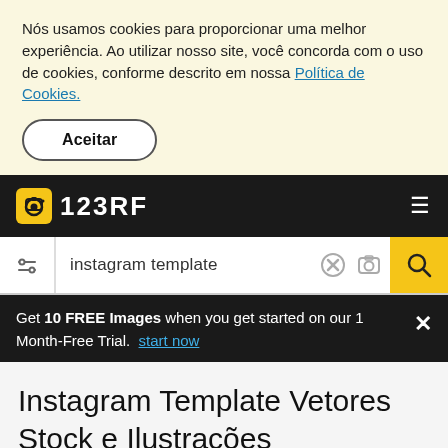Nós usamos cookies para proporcionar uma melhor experiência. Ao utilizar nosso site, você concorda com o uso de cookies, conforme descrito em nossa Política de Cookies.
Aceitar
[Figure (logo): 123RF logo with camera icon on dark navbar, hamburger menu icon on right]
instagram template
Get 10 FREE Images when you get started on our 1 Month-Free Trial. start now
Instagram Template Vetores Stock e Ilustrações
Tipo de arquivo: ✕